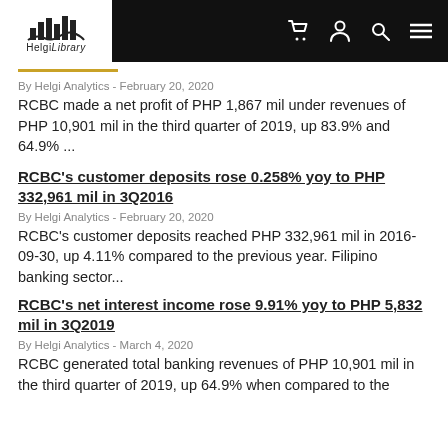Helgi Library - navigation bar with logo, cart, user, search, menu icons
By Helgi Analytics - February 20, 2020
RCBC made a net profit of PHP 1,867 mil under revenues of PHP 10,901 mil in the third quarter of 2019, up 83.9% and 64.9% ...
RCBC's customer deposits rose 0.258% yoy to PHP 332,961 mil in 3Q2016
By Helgi Analytics - February 20, 2020
RCBC's customer deposits reached PHP 332,961 mil in 2016-09-30, up 4.11% compared to the previous year. Filipino banking sector...
RCBC's net interest income rose 9.91% yoy to PHP 5,832 mil in 3Q2019
By Helgi Analytics - March 4, 2020
RCBC generated total banking revenues of PHP 10,901 mil in the third quarter of 2019, up 64.9% when compared to the